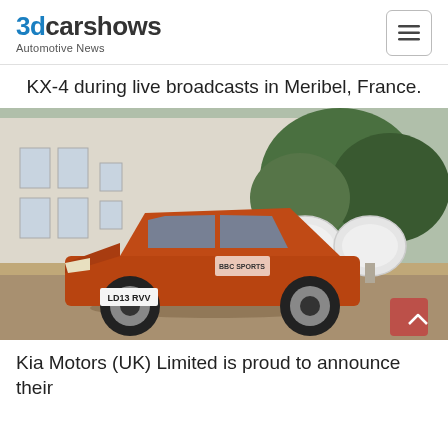3dcarshows Automotive News
KX-4 during live broadcasts in Meribel, France.
[Figure (photo): Orange Kia Sportage SUV with BBC Sports branding parked on a gravel driveway in front of a white building with trees and two satellite dishes in the background.]
Kia Motors (UK) Limited is proud to announce their